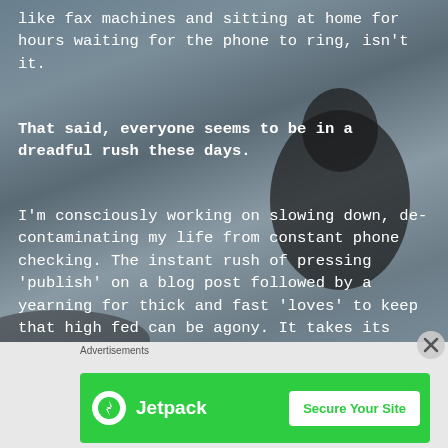like fax machines and sitting at home for hours waiting for the phone to ring, isn't it.
That said, everyone seems to be in a dreadful rush these days.
I'm consciously working on slowing down, de-contaminating my life from constant phone checking. The instant rush of pressing 'publish' on a blog post followed by a yearning for thick and fast 'loves' to keep that high fed can be agony. It takes its toll. Becomes painfully repetitive.
[Figure (screenshot): Jetpack advertisement banner with green background showing Jetpack logo and 'Secure Your Site' button]
Advertisements